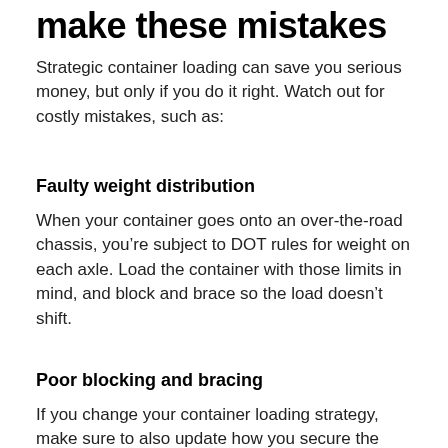make these mistakes
Strategic container loading can save you serious money, but only if you do it right. Watch out for costly mistakes, such as:
Faulty weight distribution
When your container goes onto an over-the-road chassis, you’re subject to DOT rules for weight on each axle. Load the container with those limits in mind, and block and brace so the load doesn’t shift.
Poor blocking and bracing
If you change your container loading strategy, make sure to also update how you secure the freight. Otherwise, you risk not just shifting, but damage. If a trading partner loads for you at the origin, make sure